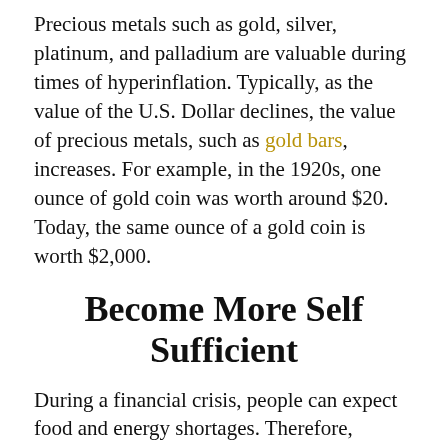Precious metals such as gold, silver, platinum, and palladium are valuable during times of hyperinflation. Typically, as the value of the U.S. Dollar declines, the value of precious metals, such as gold bars, increases. For example, in the 1920s, one ounce of gold coin was worth around $20. Today, the same ounce of a gold coin is worth $2,000.
Become More Self Sufficient
During a financial crisis, people can expect food and energy shortages. Therefore, becoming more self-sufficient is essential to combat hyperinflation. For example, reduce your reliance on electricity and invest in solar cells, windmills, and hydroelectric power. Moreover, establish sustainable food and water sources by gardening, planting fruit-bearing trees, or purchasing land with a natural source of water.